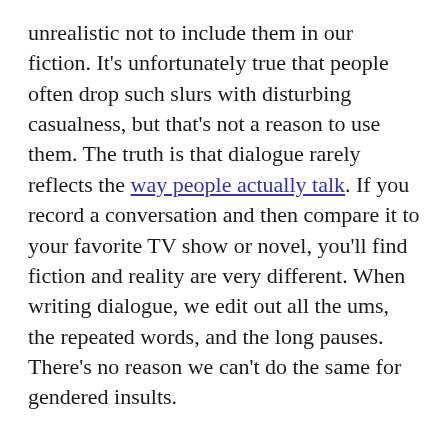unrealistic not to include them in our fiction. It's unfortunately true that people often drop such slurs with disturbing casualness, but that's not a reason to use them. The truth is that dialogue rarely reflects the way people actually talk. If you record a conversation and then compare it to your favorite TV show or novel, you'll find fiction and reality are very different. When writing dialogue, we edit out all the ums, the repeated words, and the long pauses. There's no reason we can't do the same for gendered insults.
Far future and fantasy have even less reason to use them. These are completely different worlds; it's perfectly reasonable that they have different patterns of speech.